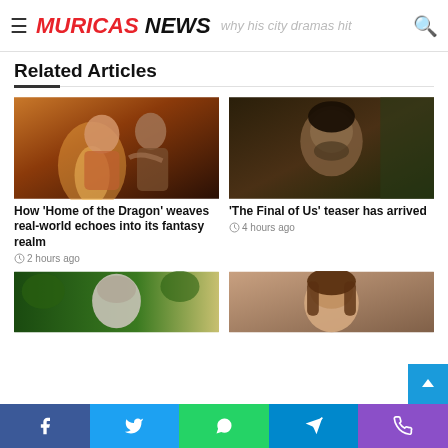MURICAS NEWS | why his city dramas hit
Related Articles
[Figure (photo): Two women in a fantasy/period drama setting, one embracing the other from behind, warm candlelit tones – House of the Dragon scene]
How 'Home of the Dragon' weaves real-world echoes into its fantasy realm
2 hours ago
[Figure (photo): A man with a beard looking serious in a dark room – The Last of Us scene]
'The Final of Us' teaser has arrived
4 hours ago
[Figure (photo): Partial view of a person outdoors with greenery – partially visible article image]
[Figure (photo): Partial view of a woman with brown hair – partially visible article image]
Facebook | Twitter | WhatsApp | Telegram | Phone